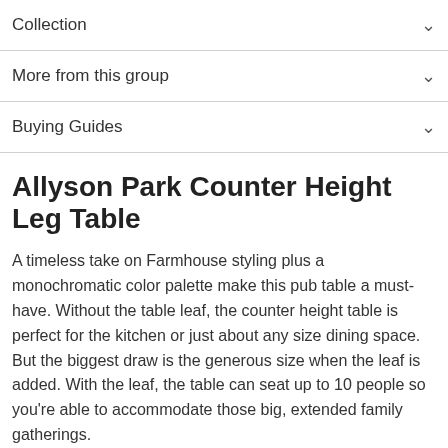Collection
More from this group
Buying Guides
Allyson Park Counter Height Leg Table
A timeless take on Farmhouse styling plus a monochromatic color palette make this pub table a must-have. Without the table leaf, the counter height table is perfect for the kitchen or just about any size dining space. But the biggest draw is the generous size when the leaf is added. With the leaf, the table can seat up to 10 people so you're able to accommodate those big, extended family gatherings.
The Allyson Park Square Counter Height Pub Table with